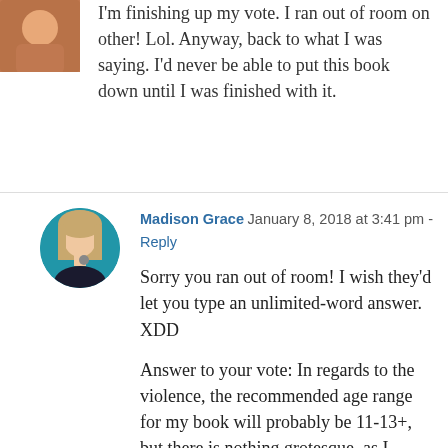I'm finishing up my vote. I ran out of room on other! Lol. Anyway, back to what I was saying. I'd never be able to put this book down until I was finished with it.
Madison Grace  January 8, 2018 at 3:41 pm -
Reply
Sorry you ran out of room! I wish they'd let you type an unlimited-word answer. XDD
Answer to your vote: In regards to the violence, the recommended age range for my book will probably be 11-13+, but there is nothing grotesque, as I believe in creating moral fiction. My book is set in the time of feudal Japan, so fighting was a part of everyday life, but I don't go